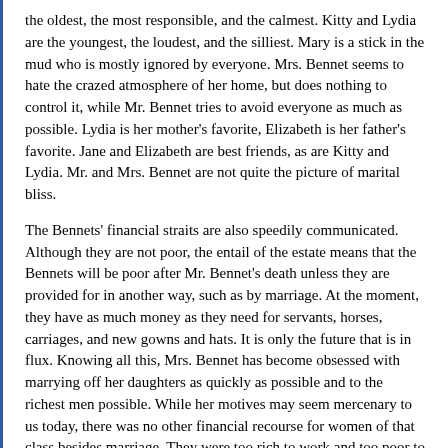the oldest, the most responsible, and the calmest. Kitty and Lydia are the youngest, the loudest, and the silliest. Mary is a stick in the mud who is mostly ignored by everyone. Mrs. Bennet seems to hate the crazed atmosphere of her home, but does nothing to control it, while Mr. Bennet tries to avoid everyone as much as possible. Lydia is her mother's favorite, Elizabeth is her father's favorite. Jane and Elizabeth are best friends, as are Kitty and Lydia. Mr. and Mrs. Bennet are not quite the picture of marital bliss.
The Bennets' financial straits are also speedily communicated. Although they are not poor, the entail of the estate means that the Bennets will be poor after Mr. Bennet's death unless they are provided for in another way, such as by marriage. At the moment, they have as much money as they need for servants, horses, carriages, and new gowns and hats. It is only the future that is in flux. Knowing all this, Mrs. Bennet has become obsessed with marrying off her daughters as quickly as possible and to the richest men possible. While her motives may seem mercenary to us today, there was no other financial recourse for women of that class besides marriage. They were too rich to work and too poor to have very wealthy relations.
Our first glimpse of Miss Elizabeth Bennet is out on a walk. Elizabeth's walks coincide with several major plot developments,